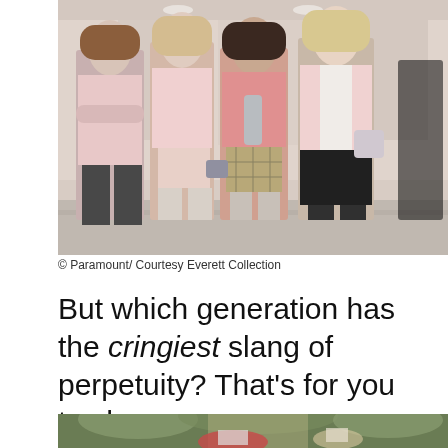[Figure (photo): Four young women standing in a shopping mall, all wearing pink outfits. Scene from the movie Mean Girls. Left to right: woman in pink polo with arms crossed, woman in pink top and mini skirt, woman in pink sweater holding something, woman in white top with pink cardigan and black skirt.]
© Paramount/ Courtesy Everett Collection
But which generation has the cringiest slang of perpetuity? That's for you to choose.
[Figure (photo): Partial view of another photo at the bottom of the page, showing two people outdoors with trees in background.]